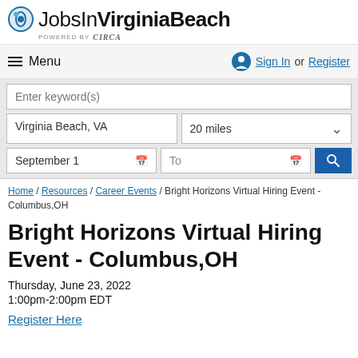JobsInVirginiaBeach powered by Circa
Menu  Sign In or Register
Enter keyword(s)  Virginia Beach, VA  20 miles  September 1  To
Home / Resources / Career Events / Bright Horizons Virtual Hiring Event - Columbus,OH
Bright Horizons Virtual Hiring Event - Columbus,OH
Thursday, June 23, 2022
1:00pm-2:00pm EDT
Register Here